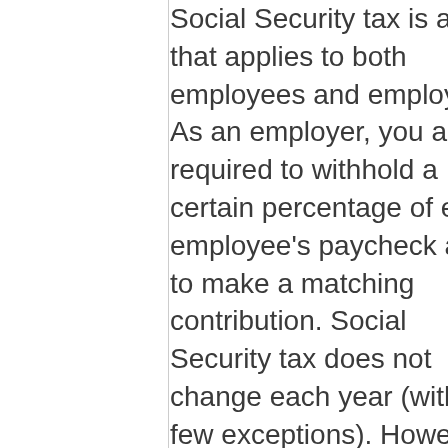Social Security tax is a tax that applies to both employees and employers. As an employer, you are required to withhold a certain percentage of each employee's paycheck and to make a matching contribution. Social Security tax does not change each year (with a few exceptions). However, the case is not the same as...
Read More →